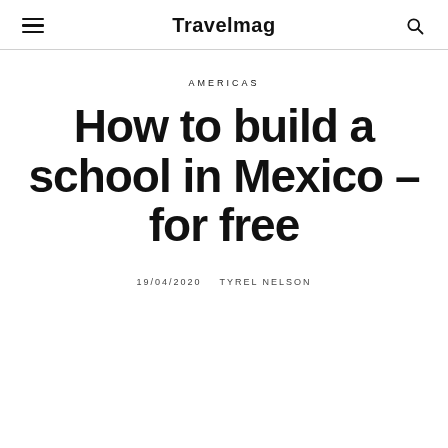Travelmag
AMERICAS
How to build a school in Mexico – for free
19/04/2020   TYREL NELSON